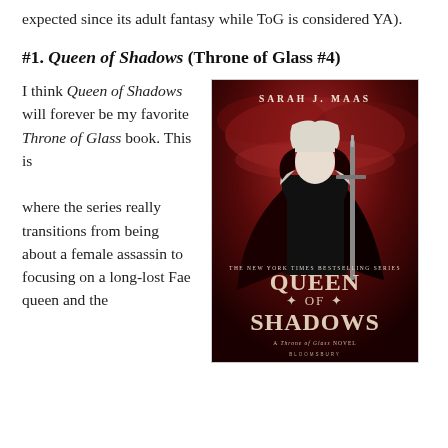expected since its adult fantasy while ToG is considered YA).
#1. Queen of Shadows (Throne of Glass #4)
I think Queen of Shadows will forever be my favorite Throne of Glass book. This is where the series really transitions from being about a female assassin to focusing on a long-lost Fae queen and the
[Figure (photo): Book cover of 'Queen of Shadows' by Sarah J. Maas, showing a woman in black armor holding a sword against a red sky background. Text reads: The New York Times Bestselling Series, Queen of Shadows, A Throne of Glass Novel, Bloomsbury.]